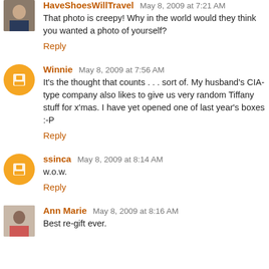HaveShoesWillTravel May 8, 2009 at 7:21 AM
That photo is creepy! Why in the world would they think you wanted a photo of yourself?
Reply
Winnie May 8, 2009 at 7:56 AM
It's the thought that counts . . . sort of. My husband's CIA-type company also likes to give us very random Tiffany stuff for x'mas. I have yet opened one of last year's boxes :-P
Reply
ssinca May 8, 2009 at 8:14 AM
w.o.w.
Reply
Ann Marie May 8, 2009 at 8:16 AM
Best re-gift ever.